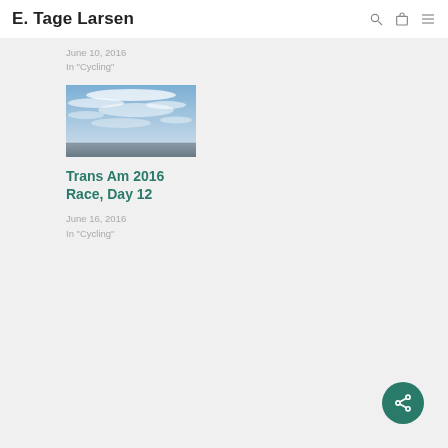E. Tage Larsen
June 10, 2016
In "Cycling"
[Figure (photo): A landscape photo showing a dramatic sky with wispy clouds over a flat coastal or lake shore scene, blue skies and white clouds.]
Trans Am 2016 Race, Day 12
June 16, 2016
In "Cycling"